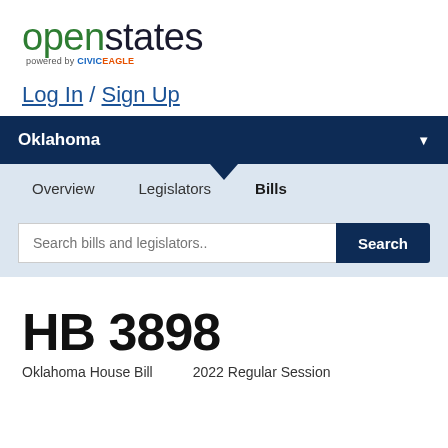[Figure (logo): openstates logo with 'powered by CIVICEAGLE' tagline]
Log In / Sign Up
Oklahoma
Overview   Legislators   Bills
Search bills and legislators..
HB 3898
Oklahoma House Bill   2022 Regular Session